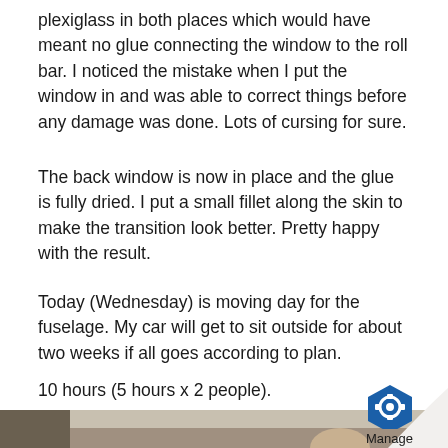plexiglass in both places which would have meant no glue connecting the window to the roll bar. I noticed the mistake when I put the window in and was able to correct things before any damage was done. Lots of cursing for sure.
The back window is now in place and the glue is fully dried. I put a small fillet along the skin to make the transition look better. Pretty happy with the result.
Today (Wednesday) is moving day for the fuselage. My car will get to sit outside for about two weeks if all goes according to plan.
10 hours (5 hours x 2 people).
[Figure (photo): Partial photo of a person working inside what appears to be an aircraft fuselage or garage workshop, visible at the bottom of the page. A page curl effect with a Manage badge logo is overlaid in the bottom-right corner.]